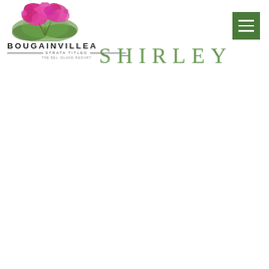[Figure (logo): Bougainvillea Strata Titled logo with pink bougainvillea flowers illustration above the brand name]
SHIRLEY